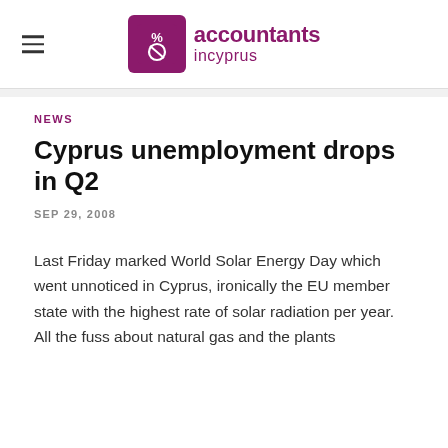accountants incyprus
NEWS
Cyprus unemployment drops in Q2
SEP 29, 2008
Last Friday marked World Solar Energy Day which went unnoticed in Cyprus, ironically the EU member state with the highest rate of solar radiation per year. All the fuss about natural gas and the plants